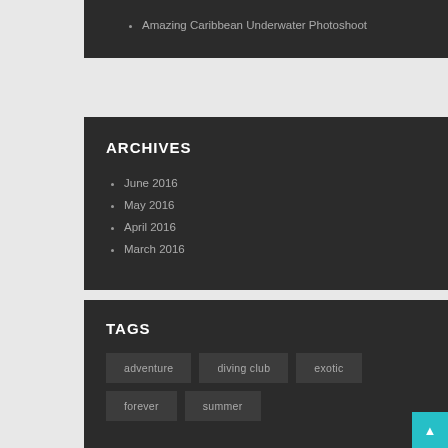Amazing Caribbean Underwater Photoshoot
ARCHIVES
June 2016
May 2016
April 2016
March 2016
TAGS
adventure
diving club
exotic
forever
summer